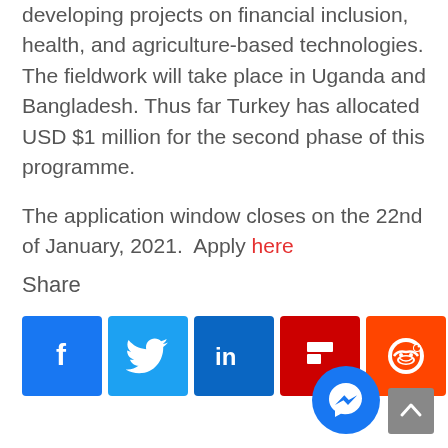developing projects on financial inclusion, health, and agriculture-based technologies. The fieldwork will take place in Uganda and Bangladesh. Thus far Turkey has allocated USD $1 million for the second phase of this programme.
The application window closes on the 22nd of January, 2021.  Apply here
Share
[Figure (infographic): Social sharing icons: Facebook, Twitter, LinkedIn, Flipboard, Reddit, Yahoo, Email]